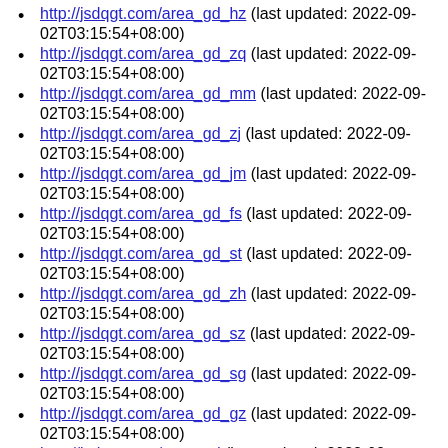http://jsdqgt.com/area_gd_hz (last updated: 2022-09-02T03:15:54+08:00)
http://jsdqgt.com/area_gd_zq (last updated: 2022-09-02T03:15:54+08:00)
http://jsdqgt.com/area_gd_mm (last updated: 2022-09-02T03:15:54+08:00)
http://jsdqgt.com/area_gd_zj (last updated: 2022-09-02T03:15:54+08:00)
http://jsdqgt.com/area_gd_jm (last updated: 2022-09-02T03:15:54+08:00)
http://jsdqgt.com/area_gd_fs (last updated: 2022-09-02T03:15:54+08:00)
http://jsdqgt.com/area_gd_st (last updated: 2022-09-02T03:15:54+08:00)
http://jsdqgt.com/area_gd_zh (last updated: 2022-09-02T03:15:54+08:00)
http://jsdqgt.com/area_gd_sz (last updated: 2022-09-02T03:15:54+08:00)
http://jsdqgt.com/area_gd_sg (last updated: 2022-09-02T03:15:54+08:00)
http://jsdqgt.com/area_gd_gz (last updated: 2022-09-02T03:15:54+08:00)
http://jsdqgt.com/area_gd (last updated: 2022-09-02T03:15:54+08:00)